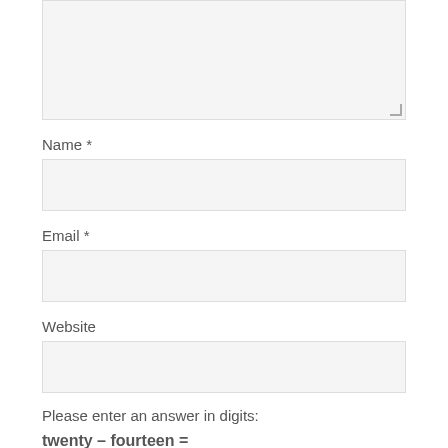[Figure (screenshot): A textarea input box (comment field) with a resize handle at the bottom-right corner, showing a light gray background and thin border.]
Name *
[Figure (screenshot): A single-line text input box for Name field, light gray background with thin border.]
Email *
[Figure (screenshot): A single-line text input box for Email field, light gray background with thin border.]
Website
[Figure (screenshot): A single-line text input box for Website field, light gray background with thin border.]
Please enter an answer in digits:
twenty – fourteen =
[Figure (screenshot): A single-line text input box for the math captcha answer, light gray background with thin border.]